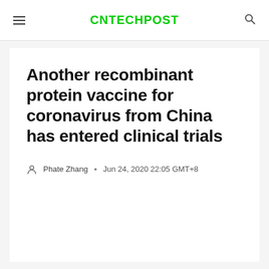CNTECHPOST
Another recombinant protein vaccine for coronavirus from China has entered clinical trials
Phate Zhang · Jun 24, 2020 22:05 GMT+8